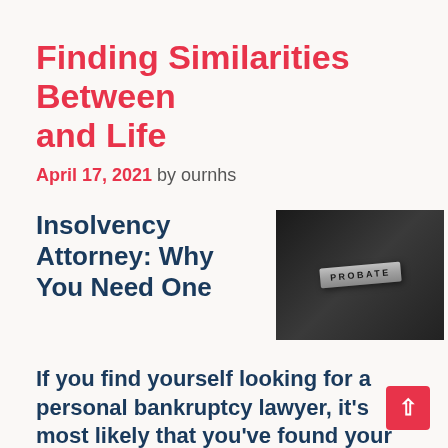Finding Similarities Between and Life
April 17, 2021 by ournhs
Insolvency Attorney: Why You Need One
[Figure (photo): A metallic PROBATE badge/plate on a dark background]
If you find yourself looking for a personal bankruptcy lawyer, it's most likely that you've found your method here via a web online search engine or through the